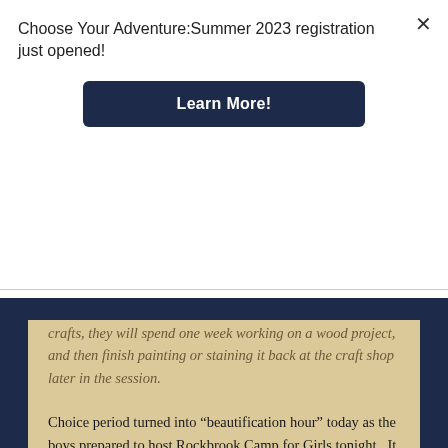Choose Your Adventure:Summer 2023 registration just opened!
[Figure (other): Learn More! button — dark navy rectangular button with white bold text]
crafts, they will spend one week working on a wood project, and then finish painting or staining it back at the craft shop later in the session.
Choice period turned into “beautification hour” today as the boys prepared to host Rockbrook Camp for Girls tonight.  It is a good way to get the showers over early and have everyone clean and tidy for dinner.  Life at Rockbrook (and other girls camps) during this same hour typically involves blown breakers from all the hair care going on.  Life at a boys camp is WAY different.  I do enjoy seeing the boys clean up even if it is